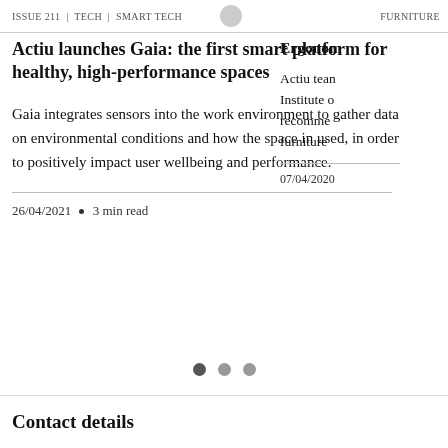ISSUE 211 | TECH | SMART TECH   FURNITURE
Actiu launches Gaia: the first smart platform for healthy, high-performance spaces
Gaia integrates sensors into the work environment to gather data on environmental conditions and how the space in used, in order to positively impact user wellbeing and performance.
26/04/2021 • 3 min read
Ergonom
Actiu team Institute o recomme furniture
07/04/2020
Contact details